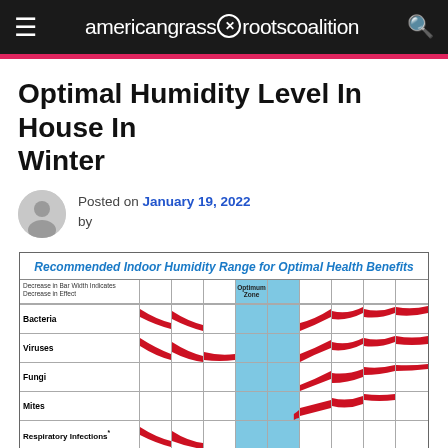americangrassrootscoalition
Optimal Humidity Level In House In Winter
Posted on January 19, 2022 by
[Figure (infographic): Recommended Indoor Humidity Range for Optimal Health Benefits chart showing red bar shapes for Bacteria, Viruses, Fungi, Mites, Respiratory Infections*, Allergic Rhinitis and Asthma, Chemical Interactions across humidity levels with a blue Optimum Zone column]